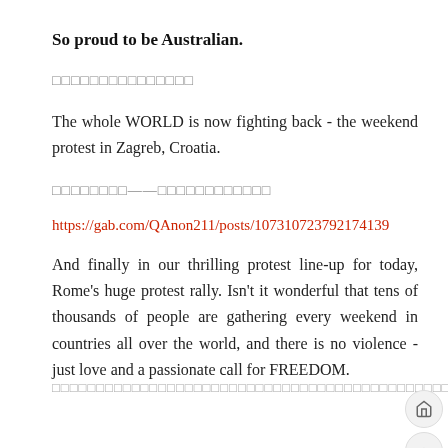So proud to be Australian.
□□□□□□□□□□□□□□□
The whole WORLD is now fighting back - the weekend protest in Zagreb, Croatia.
□□□□□□□□——□□□□□□□□□□□□
https://gab.com/QAnon211/posts/107310723792174139
And finally in our thrilling protest line-up for today, Rome's huge protest rally. Isn't it wonderful that tens of thousands of people are gathering every weekend in countries all over the world, and there is no violence - just love and a passionate call for FREEDOM.
□□□□□□□□□□□□□□□□□□□□□□□□□□□□□□□□□□□□□□□□□□□□□□□□□□□□□□□□□□□□□□□□□□□□